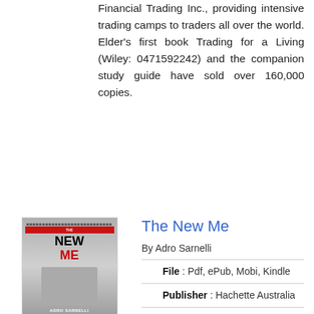Financial Trading Inc., providing intensive trading camps to traders all over the world. Elder's first book Trading for a Living (Wiley: 0471592242) and the companion study guide have sold over 160,000 copies.
The New Me
By Adro Sarnelli
[Figure (illustration): Book cover of 'The New Me' by Adro Sarnelli showing a person in dark clothing]
[Figure (other): Green READ PDF button]
File : Pdf, ePub, Mobi, Kindle
Publisher : Hachette Australia
Book Code : 0733627447
Total of Pages : 272